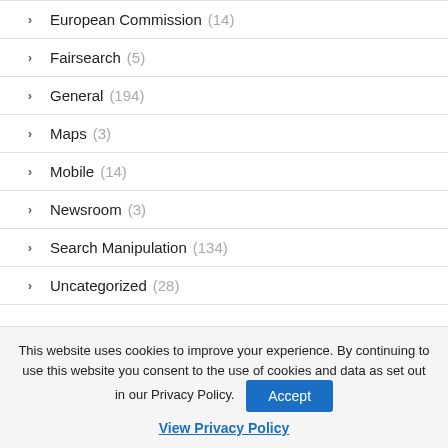European Commission (14)
Fairsearch (5)
General (194)
Maps (3)
Mobile (14)
Newsroom (3)
Search Manipulation (134)
Uncategorized (28)
This website uses cookies to improve your experience. By continuing to use this website you consent to the use of cookies and data as set out in our Privacy Policy.
Accept
View Privacy Policy